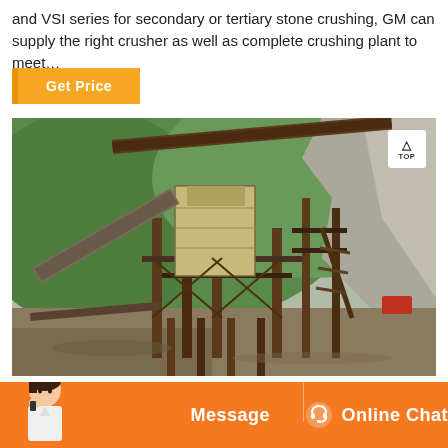and VSI series for secondary or tertiary stone crushing, GM can supply the right crusher as well as complete crushing plant to meet...
[Figure (photo): Photograph of an industrial stone crushing plant with metal structures, conveyor belts, and machinery set against a rocky hillside with green vegetation. A 'TOP' navigation badge is visible in the upper right corner of the image.]
Get Price
Message
Online Chat